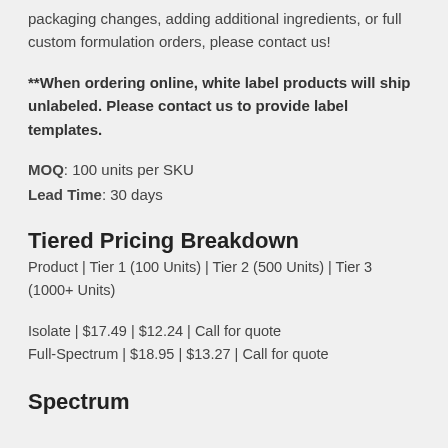packaging changes, adding additional ingredients, or full custom formulation orders, please contact us!
**When ordering online, white label products will ship unlabeled. Please contact us to provide label templates.
MOQ: 100 units per SKU
Lead Time: 30 days
Tiered Pricing Breakdown
Product | Tier 1 (100 Units) | Tier 2 (500 Units) | Tier 3 (1000+ Units)
Isolate | $17.49 | $12.24 | Call for quote
Full-Spectrum | $18.95 | $13.27 | Call for quote
Spectrum